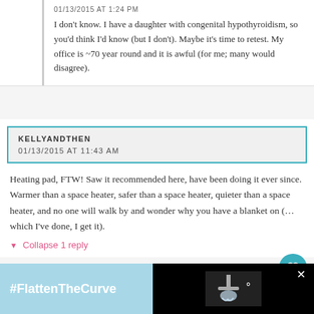01/13/2015 AT 1:24 PM
I don't know. I have a daughter with congenital hypothyroidism, so you'd think I'd know (but I don't). Maybe it's time to retest. My office is ~70 year round and it is awful (for me; many would disagree).
KELLYANDTHEN
01/13/2015 AT 11:43 AM
Heating pad, FTW! Saw it recommended here, have been doing it ever since. Warmer than a space heater, safer than a space heater, quieter than a space heater, and no one will walk by and wonder why you have a blanket on (…which I've done, I get it).
▼ Collapse 1 reply
[Figure (screenshot): Advertisement banner at bottom with #FlattenTheCurve hashtag on light blue background and a hand-washing image on black background with close button]